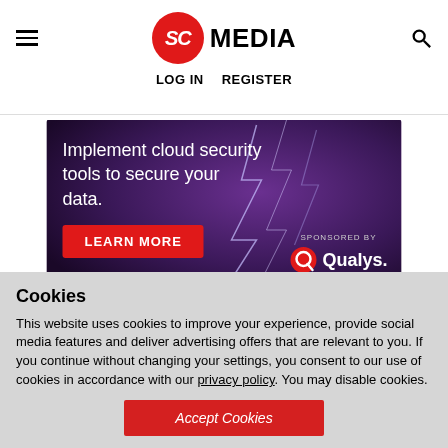SC MEDIA | LOG IN | REGISTER
[Figure (infographic): Advertisement banner with dark purple/stormy background and lightning. Text: 'Implement cloud security tools to secure your data.' Red LEARN MORE button. Sponsored by Qualys logo.]
Cookies
This website uses cookies to improve your experience, provide social media features and deliver advertising offers that are relevant to you. If you continue without changing your settings, you consent to our use of cookies in accordance with our privacy policy. You may disable cookies.
Accept Cookies